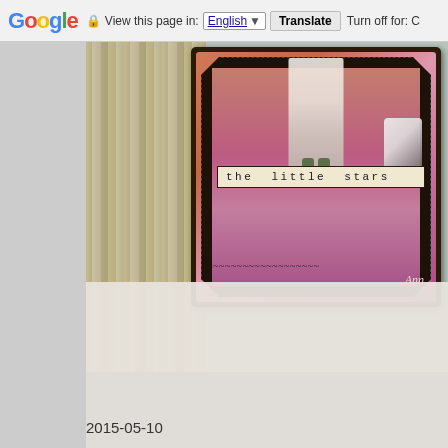Google  View this page in: English [▼]  Translate  Turn off for: C
[Figure (photo): A scrapbook/craft art piece showing a vintage-style collage with a child and a black-and-white dog on a mixed-media background. A label reads 'the little stars' in typewriter font. The piece has an octagonal dark border, pink and orange textured background, and a handwritten signature reading 'Ann'. Below the card is white lace fabric. The left portion shows a weathered wood-plank background.]
2015-05-10